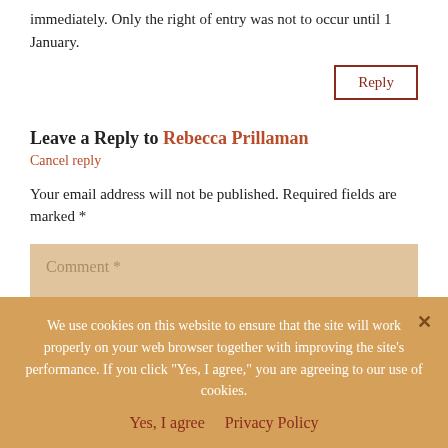immediately. Only the right of entry was not to occur until 1 January.
Reply
Leave a Reply to Rebecca Prillaman
Cancel reply
Your email address will not be published. Required fields are marked *
Comment *
Name *
Email *
We use cookies on this website to ensure that the site will work properly on your web browser together with improving the site's performance. If you click "Yes, I agree," you are agreeing to our use of cookies.
Yes, I agree   Privacy Policy